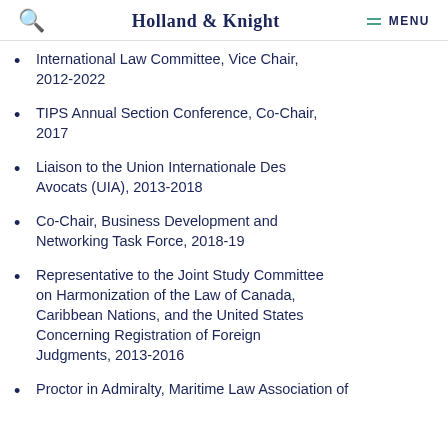Holland & Knight  MENU
International Law Committee, Vice Chair, 2012-2022
TIPS Annual Section Conference, Co-Chair, 2017
Liaison to the Union Internationale Des Avocats (UIA), 2013-2018
Co-Chair, Business Development and Networking Task Force, 2018-19
Representative to the Joint Study Committee on Harmonization of the Law of Canada, Caribbean Nations, and the United States Concerning Registration of Foreign Judgments, 2013-2016
Proctor in Admiralty, Maritime Law Association of